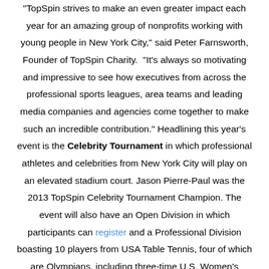"TopSpin strives to make an even greater impact each year for an amazing group of nonprofits working with young people in New York City," said Peter Farnsworth, Founder of TopSpin Charity. "It's always so motivating and impressive to see how executives from across the professional sports leagues, area teams and leading media companies and agencies come together to make such an incredible contribution." Headlining this year's event is the Celebrity Tournament in which professional athletes and celebrities from New York City will play on an elevated stadium court. Jason Pierre-Paul was the 2013 TopSpin Celebrity Tournament Champion. The event will also have an Open Division in which participants can register and a Professional Division boasting 10 players from USA Table Tennis, four of which are Olympians, including three-time U.S. Women's Singles Champion Ariel Hsing. Winners of each Division will receive official TopSpin trophies from Tiffany, and be awarded with a VIP trip to